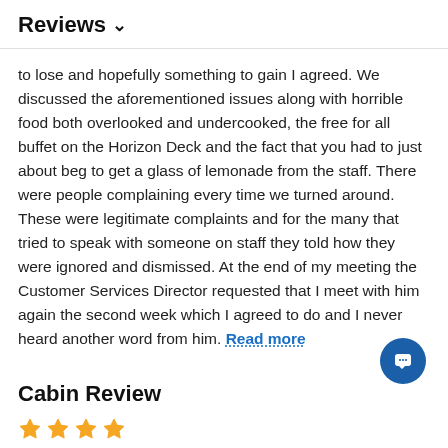Reviews ∨
to lose and hopefully something to gain I agreed. We discussed the aforementioned issues along with horrible food both overlooked and undercooked, the free for all buffet on the Horizon Deck and the fact that you had to just about beg to get a glass of lemonade from the staff. There were people complaining every time we turned around. These were legitimate complaints and for the many that tried to speak with someone on staff they told how they were ignored and dismissed. At the end of my meeting the Customer Services Director requested that I meet with him again the second week which I agreed to do and I never heard another word from him. Read more
Cabin Review
[Figure (other): Star rating row showing partially visible orange/yellow star icons at bottom of page]